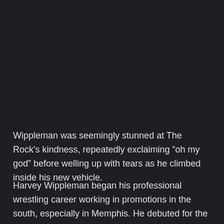Wippleman was seemingly stunned at The Rock's kindness, repeatedly exclaiming “oh my god” before welling up with tears as he climbed inside his new vehicle.
Harvey Wippleman began his professional wrestling career working in promotions in the south, especially in Memphis. He debuted for the WWF in the 1990s and managed the likes of Kamala, Sid Justice, Giant...